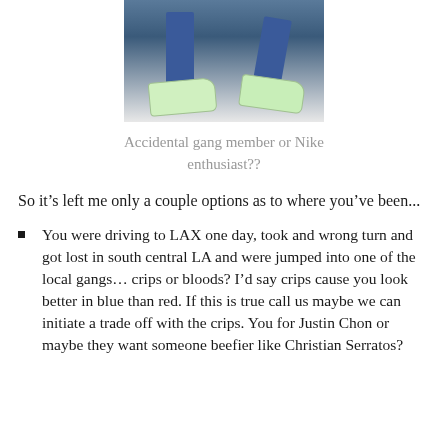[Figure (photo): Photo of person's legs wearing blue jeans and green Nike sneakers]
Accidental gang member or Nike enthusiast??
So it’s left me only a couple options as to where you’ve been...
You were driving to LAX one day, took and wrong turn and got lost in south central LA and were jumped into one of the local gangs… crips or bloods? I’d say crips cause you look better in blue than red. If this is true call us maybe we can initiate a trade off with the crips. You for Justin Chon or maybe they want someone beefier like Christian Serratos?